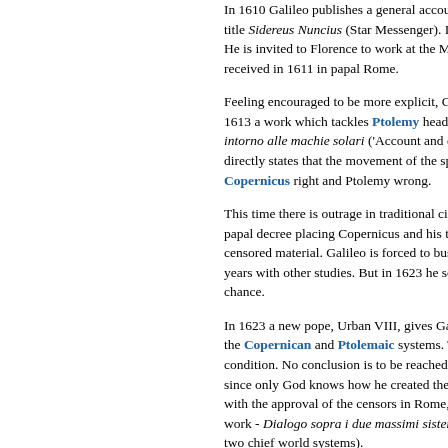In 1610 Galileo publishes a general account under the title Sidereus Nuncius (Star Messenger). It is a sensation. He is invited to Florence to work at the Medicean court, and received in 1611 in papal Rome.
Feeling encouraged to be more explicit, Galileo publishes in 1613 a work which tackles Ptolemy head on. The Istoria e dimostrazioni intorno alle machie solari ('Account and evidence on sunspots') directly states that the movement of the spots proves Copernicus right and Ptolemy wrong.
This time there is outrage in traditional circles, resulting in a papal decree placing Copernicus and his theories among censored material. Galileo is forced to busy himself for many years with other studies. But in 1623 he sees another chance.
In 1623 a new pope, Urban VIII, gives Galileo permission to write about the Copernican and Ptolemaic systems. There is one condition. No conclusion is to be reached about which is correct, since only God knows how he created the universe. Galileo complies, with the approval of the censors in Rome, Galileo publishes his work - Dialogo sopra i due massimi sistemi (Dialogue on the two chief world systems).
Although the final chapter prevaricates, as required, the whole argument makes the scientific conclusion unavoidable. The book is widely hailed as a masterpiece, and Rome's reaction is delayed. But Urban VIII overreacts. He orders the Inquisition to try Galileo as a heretic.
Galileo is convicted in 1633 of having held